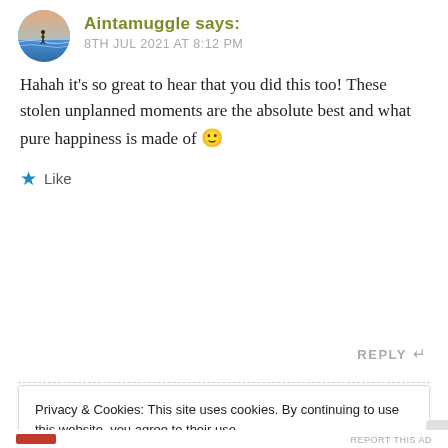[Figure (photo): Circular avatar photo of a person standing near ocean waves at sunset]
Aintamuggle says:
8TH JUL 2021 AT 8:12 PM
Hahah it's so great to hear that you did this too! These stolen unplanned moments are the absolute best and what pure happiness is made of 🙂
★ Like
REPLY ↩
Privacy & Cookies: This site uses cookies. By continuing to use this website, you agree to their use.
To find out more, including how to control cookies, see here: Cookie Policy
Close and accept